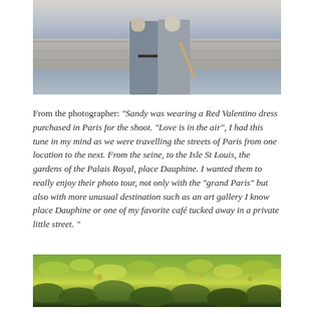[Figure (photo): Couple standing against a stone wall, man in grey suit and blue trousers, woman in grey coat]
From the photographer: “Sandy was wearing a Red Valentino dress purchased in Paris for the shoot. “Love is in the air”, I had this tune in my mind as we were travelling the streets of Paris from one location to the next. From the seine, to the Isle St Louis, the gardens of the Palais Royal, place Dauphine. I wanted them to really enjoy their photo tour, not only with the “grand Paris” but also with more unusual destination such as an art gallery I know place Dauphine or one of my favorite café tucked away in a private little street. ”
[Figure (photo): Close-up of green leafy tree branches against a blurred background]